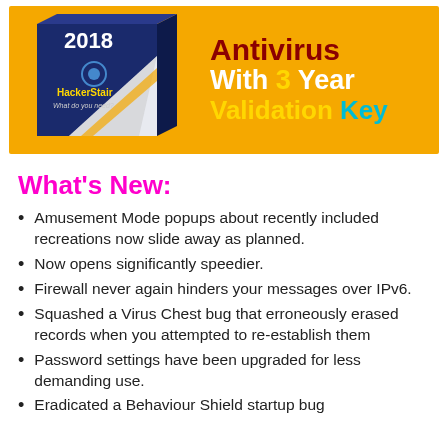[Figure (illustration): Orange promotional banner for HackerStair Antivirus 2018 with 3 Year Validation Key, showing a software box on the left and bold text on the right]
What's New:
Amusement Mode popups about recently included recreations now slide away as planned.
Now opens significantly speedier.
Firewall never again hinders your messages over IPv6.
Squashed a Virus Chest bug that erroneously erased records when you attempted to re-establish them
Password settings have been upgraded for less demanding use.
Eradicated a Behaviour Shield startup bug